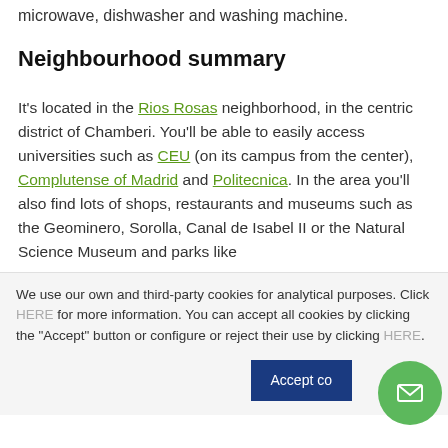microwave, dishwasher and washing machine.
Neighbourhood summary
It's located in the Rios Rosas neighborhood, in the centric district of Chamberi. You'll be able to easily access universities such as CEU (on its campus from the center), Complutense of Madrid and Politecnica. In the area you'll also find lots of shops, restaurants and museums such as the Geominero, Sorolla, Canal de Isabel II or the Natural Science Museum and parks like
We use our own and third-party cookies for analytical purposes. Click HERE for more information. You can accept all cookies by clicking the "Accept" button or configure or reject their use by clicking HERE.